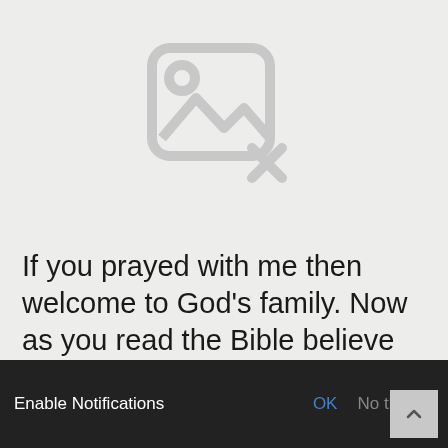[Figure (illustration): Broken/missing image placeholder icon: a rounded square outline with a small circle (sun) and mountain lines inside, plus an X mark at the bottom right, all in light grey on a grey background.]
If you prayed with me then welcome to God’s family. Now as you read the Bible believe what it plainly says. And trust the Holy Spirit to lead you into the truth. God bless you in your new life in Christ.
Enable Notifications   OK   No thanks